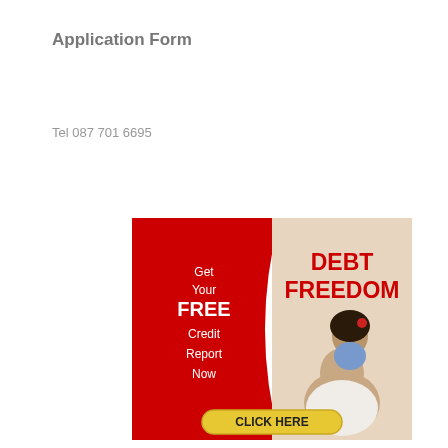Application Form
Tel 087 701 6695
[Figure (infographic): Debt Freedom advertisement banner. Left side has a red background with curved white edge on right. Text reads: Get Your FREE Credit Report Now. Right side shows two people (father and daughter) with DEBT FREEDOM text in red. Bottom has a yellow/gold pill-shaped button with CLICK HERE in black text.]